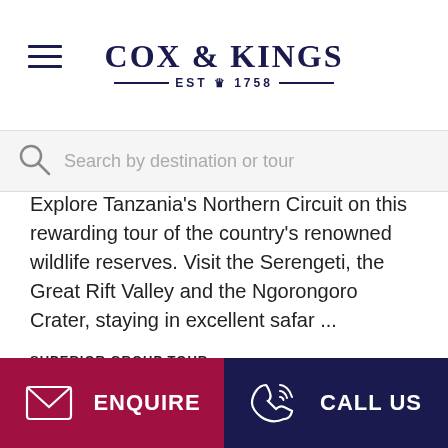COX & KINGS — EST ♛ 1758 —
Search by destination or tour
Explore Tanzania's Northern Circuit on this rewarding tour of the country's renowned wildlife reserves. Visit the Serengeti, the Great Rift Valley and the Ngorongoro Crater, staying in excellent safar ...
SUPERIOR GROUP TOUR
Lead-in price: £3895 pp
Superior private
Superior group
ENQUIRE   CALL US